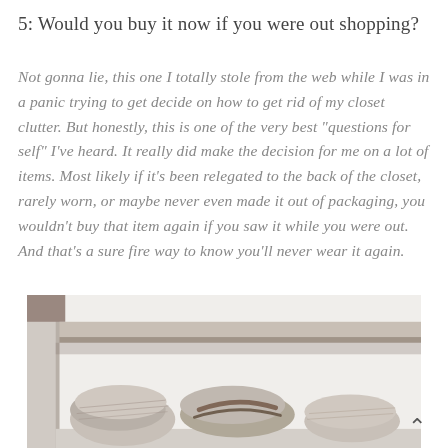5: Would you buy it now if you were out shopping?
Not gonna lie, this one I totally stole from the web while I was in a panic trying to get decide on how to get rid of my closet clutter. But honestly, this is one of the very best “questions for self” I’ve heard. It really did make the decision for me on a lot of items. Most likely if it’s been relegated to the back of the closet, rarely worn, or maybe never even made it out of packaging, you wouldn’t buy that item again if you saw it while you were out. And that’s a sure fire way to know you’ll never wear it again.
[Figure (photo): Photo of a closet shelf from below, showing folded knit items and accessories (bags/belts) stored underneath a white shelf in a white closet. The image is in muted, desaturated tones.]